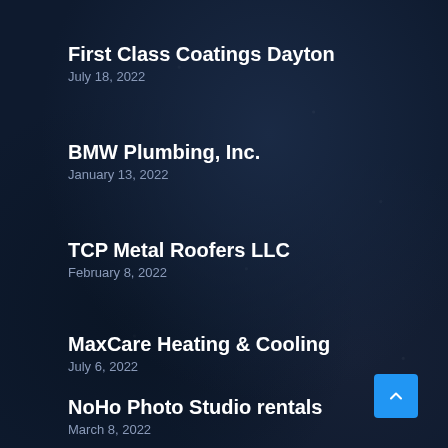First Class Coatings Dayton
July 18, 2022
BMW Plumbing, Inc.
January 13, 2022
TCP Metal Roofers LLC
February 8, 2022
MaxCare Heating & Cooling
July 6, 2022
NoHo Photo Studio rentals
March 8, 2022